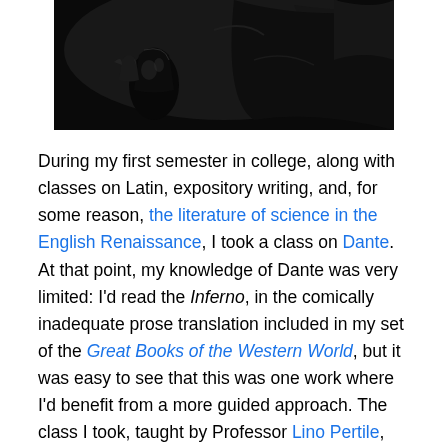[Figure (photo): Black and white dark dramatic illustration/photo showing mythological or fantastical figures, appears to be related to Dante's Inferno imagery with dark winged creatures and figures.]
During my first semester in college, along with classes on Latin, expository writing, and, for some reason, the literature of science in the English Renaissance, I took a class on Dante. At that point, my knowledge of Dante was very limited: I'd read the Inferno, in the comically inadequate prose translation included in my set of the Great Books of the Western World, but it was easy to see that this was one work where I'd benefit from a more guided approach. The class I took, taught by Professor Lino Pertile, was that and more: it was a transformative experience that set the tone for the next four years of my life. People go to college for all kinds of reasons, but what